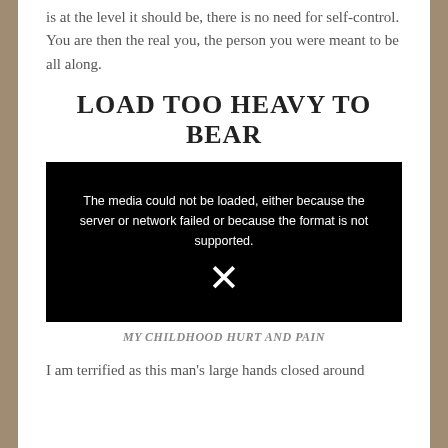is at the level it should be, there is no need for self-control. You are then the real you, the person you were meant to be all along.
LOAD TOO HEAVY TO BEAR
[Figure (screenshot): Black video player box with error message: 'The media could not be loaded, either because the server or network failed or because the format is not supported.' with a large X symbol below the text.]
MY CHILDHOOD HURT AND PAIN
I am terrified as this man's large hands closed around